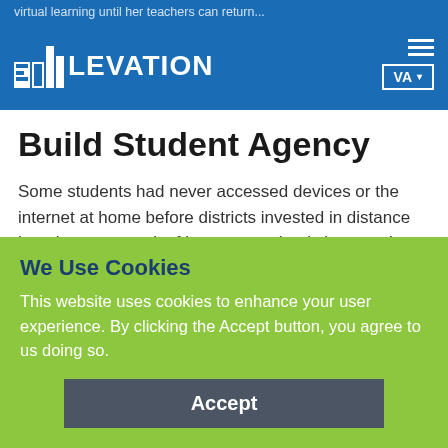virtual learning until her teachers can return...
[Figure (logo): Ellevation Education logo — stylized bar chart icon followed by ELLEVATION text in white on blue background, with hamburger menu and VA dropdown on right]
Build Student Agency
Some students had never accessed devices or the internet at home before districts invested in distance learning as a result of long-term school closures. In Manchester, New Hampshire, ESL teacher Elizabeth Leone is encouraged by the fact that technology is finally putting the world
We Use Cookies
This website uses cookies to enhance your user experience. By clicking the Accept button, you agree to us doing so.
Accept